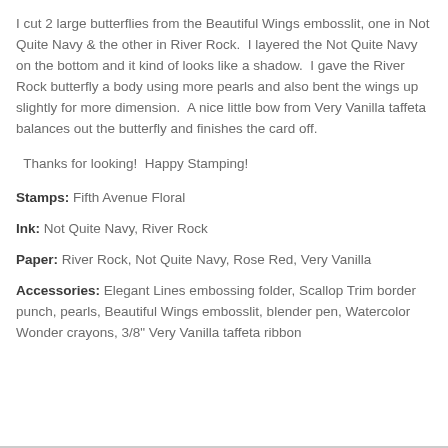I cut 2 large butterflies from the Beautiful Wings embosslit, one in Not Quite Navy & the other in River Rock.  I layered the Not Quite Navy on the bottom and it kind of looks like a shadow.  I gave the River Rock butterfly a body using more pearls and also bent the wings up slightly for more dimension.  A nice little bow from Very Vanilla taffeta balances out the butterfly and finishes the card off.
Thanks for looking!  Happy Stamping!
Stamps: Fifth Avenue Floral
Ink: Not Quite Navy, River Rock
Paper: River Rock, Not Quite Navy, Rose Red, Very Vanilla
Accessories: Elegant Lines embossing folder, Scallop Trim border punch, pearls, Beautiful Wings embosslit, blender pen, Watercolor Wonder crayons, 3/8" Very Vanilla taffeta ribbon